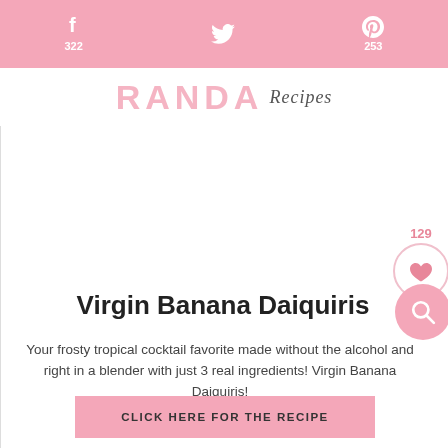f 322  [twitter] [pinterest] 253
[Figure (logo): RANDA Recipes blog logo with script overlay]
Virgin Banana Daiquiris
Your frosty tropical cocktail favorite made without the alcohol and right in a blender with just 3 real ingredients! Virgin Banana Daiquiris!
CLICK HERE FOR THE RECIPE